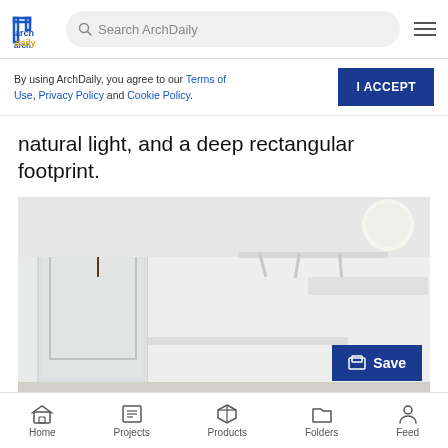ArchDaily — Search ArchDaily
By using ArchDaily, you agree to our Terms of Use, Privacy Policy and Cookie Policy.
natural light, and a deep rectangular footprint.
[Figure (photo): Interior photo of a modern white room with a plant, white shelving/partition walls, track lighting on a white ceiling, and a round globe light pendant.]
Home  Projects  Products  Folders  Feed